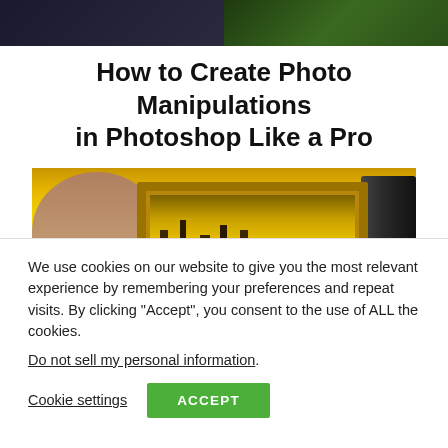[Figure (photo): Top portion of a composite image showing two people — left side shows a person in a dark suit, right side shows a person outdoors in a forest/nature setting]
How to Create Photo Manipulations in Photoshop Like a Pro
[Figure (photo): Photo manipulation example: a man's face peering from the left, an ornate golden picture frame in the center containing a golden forest scene, and a laptop/monitor on the right, all on a golden yellow background]
We use cookies on our website to give you the most relevant experience by remembering your preferences and repeat visits. By clicking “Accept”, you consent to the use of ALL the cookies.
Do not sell my personal information.
Cookie settings
ACCEPT